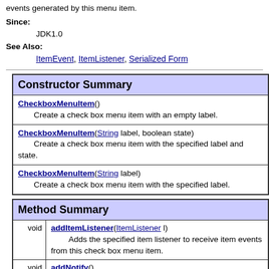events generated by this menu item.
Since:
        JDK1.0
See Also:
        ItemEvent, ItemListener, Serialized Form
Constructor Summary
CheckboxMenuItem()
        Create a check box menu item with an empty label.
CheckboxMenuItem(String label, boolean state)
        Create a check box menu item with the specified label and state.
CheckboxMenuItem(String label)
        Create a check box menu item with the specified label.
Method Summary
void addItemListener(ItemListener l)
        Adds the specified item listener to receive item events from this check box menu item.
void addNotify()